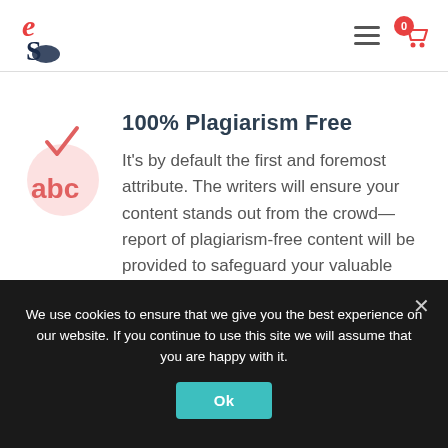EduService logo, hamburger menu, cart with 0 items
100% Plagiarism Free
It's by default the first and foremost attribute. The writers will ensure your content stands out from the crowd—report of plagiarism-free content will be provided to safeguard your valuable time.
We use cookies to ensure that we give you the best experience on our website. If you continue to use this site we will assume that you are happy with it.